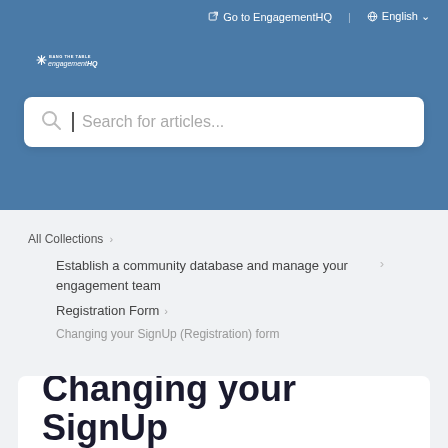Go to EngagementHQ   English
[Figure (logo): Bang The Table engagementHQ logo in white on blue background]
Search for articles...
All Collections >
Establish a community database and manage your engagement team
Registration Form >
Changing your SignUp (Registration) form
Changing your SignUp